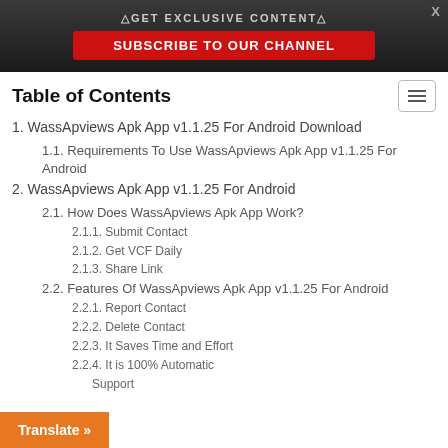△GET EXCLUSIVE CONTENT△
SUBSCRIBE TO OUR CHANNEL
Table of Contents
1. WassApviews Apk App v1.1.25 For Android Download
1.1. Requirements To Use WassApviews Apk App v1.1.25 For Android
2. WassApviews Apk App v1.1.25 For Android
2.1. How Does WassApviews Apk App Work?
2.1.1. Submit Contact
2.1.2. Get VCF Daily
2.1.3. Share Link
2.2. Features Of WassApviews Apk App v1.1.25 For Android
2.2.1. Report Contact
2.2.2. Delete Contact
2.2.3. It Saves Time and Effort
2.2.4. It is 100% Automatic
Support
Translate »